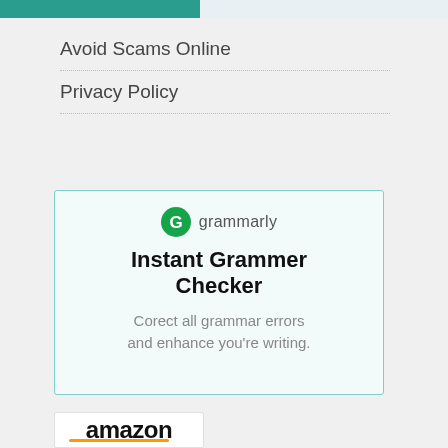Avoid Scams Online
Privacy Policy
[Figure (infographic): Grammarly advertisement box with Grammarly logo, headline 'Instant Grammer Checker', and subtext 'Corect all grammar errors and enhance you’re writing.']
[Figure (logo): Amazon logo with orange underline]